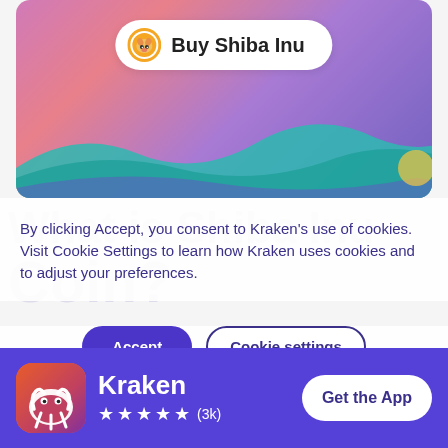[Figure (screenshot): Kraken app promotional card showing 'Buy Shiba Inu' button over a colorful purple-pink gradient background with teal wave decorations]
By clicking Accept, you consent to Kraken's use of cookies. Visit Cookie Settings to learn how Kraken uses cookies and to adjust your preferences.
[Figure (screenshot): Cookie consent buttons: 'Accept' (filled purple) and 'Cookie settings' (outlined)]
[Figure (screenshot): Kraken app download banner with app icon, star rating (3k reviews), and 'Get the App' button on purple background]